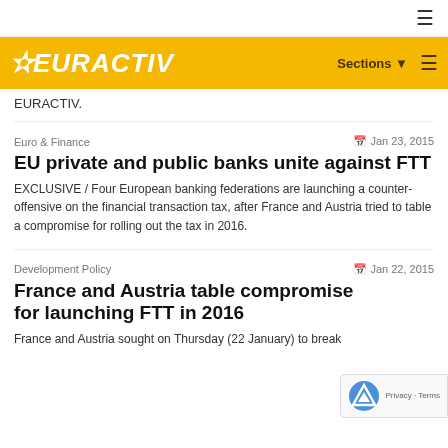EURACTIV — navigation header with Sections and menu
EURACTIV.
Euro & Finance    Jan 23, 2015
EU private and public banks unite against FTT
EXCLUSIVE / Four European banking federations are launching a counter-offensive on the financial transaction tax, after France and Austria tried to table a compromise for rolling out the tax in 2016.
Development Policy    Jan 22, 2015
France and Austria table compromise for launching FTT in 2016
France and Austria sought on Thursday (22 January) to break the deadlock on the planned European financial transaction tax...